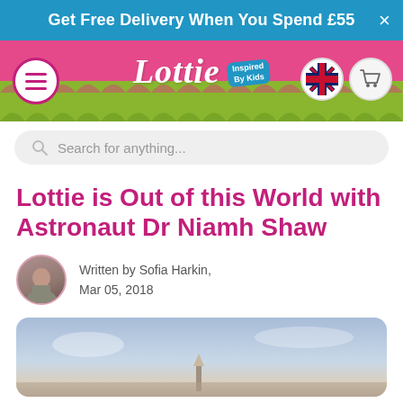Get Free Delivery When You Spend £55
[Figure (screenshot): Lottie dolls website navigation bar with logo, menu button, UK flag icon, and shopping cart icon]
Search for anything...
Lottie is Out of this World with Astronaut Dr Niamh Shaw
Written by Sofia Harkin, Mar 05, 2018
[Figure (photo): Outdoor sky landscape photo with a rocket or structure visible, used as hero image for the article]